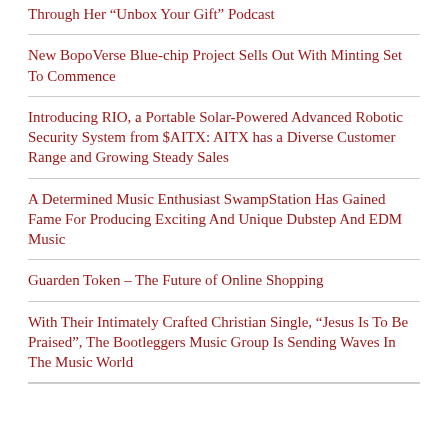Through Her “Unbox Your Gift” Podcast
New BopoVerse Blue-chip Project Sells Out With Minting Set To Commence
Introducing RIO, a Portable Solar-Powered Advanced Robotic Security System from $AITX: AITX has a Diverse Customer Range and Growing Steady Sales
A Determined Music Enthusiast SwampStation Has Gained Fame For Producing Exciting And Unique Dubstep And EDM Music
Guarden Token – The Future of Online Shopping
With Their Intimately Crafted Christian Single, “Jesus Is To Be Praised”, The Bootleggers Music Group Is Sending Waves In The Music World